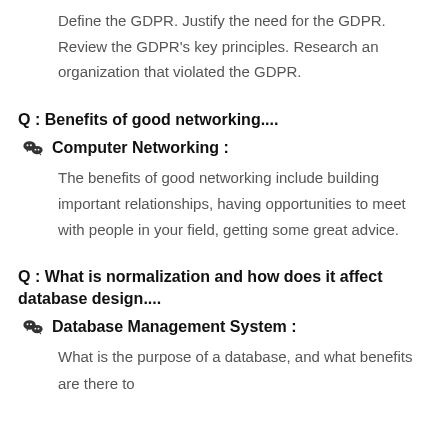Define the GDPR. Justify the need for the GDPR. Review the GDPR's key principles. Research an organization that violated the GDPR.
Q : Benefits of good networking....
Computer Networking :
The benefits of good networking include building important relationships, having opportunities to meet with people in your field, getting some great advice.
Q : What is normalization and how does it affect database design....
Database Management System :
What is the purpose of a database, and what benefits are there to...